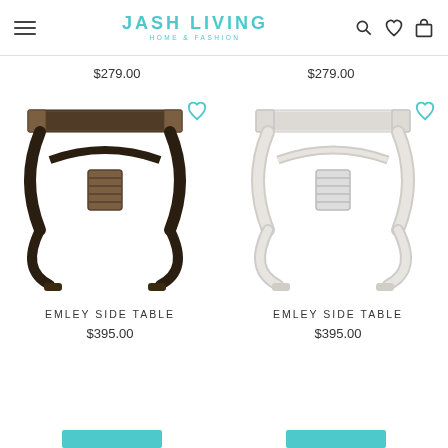JASH LIVING HOME & FASHION
$279.00   $279.00
[Figure (photo): Dark brown rattan Emley Side Table with curved X-shaped base and flat top surface]
[Figure (photo): White rattan Emley Side Table with curved X-shaped base and flat top surface]
EMLEY SIDE TABLE
$395.00
EMLEY SIDE TABLE
$395.00